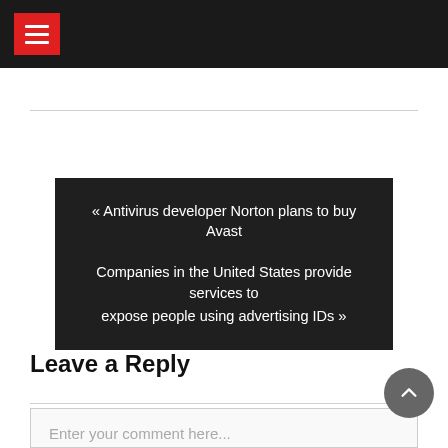Navigation menu header bar
« Antivirus developer Norton plans to buy Avast
Companies in the United States provide services to expose people using advertising IDs »
Leave a Reply
Enter your comment here...